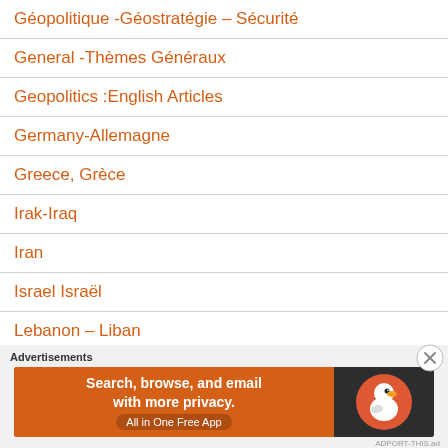Géopolitique -Géostratégie – Sécurité
General -Thèmes Généraux
Geopolitics :English Articles
Germany-Allemagne
Greece, Grèce
Irak-Iraq
Iran
Israel Israël
Lebanon – Liban
Libya-Libye
[Figure (screenshot): DuckDuckGo advertisement banner: 'Search, browse, and email with more privacy. All in One Free App' with DuckDuckGo logo on dark right panel. Ad appears at bottom of page with close button and 'Advertisements' label.]